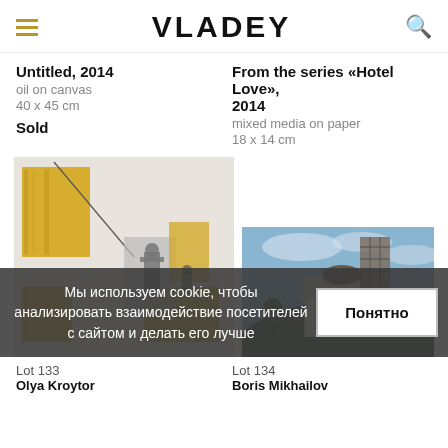VLADEY
Untitled, 2014
oil on canvas
40 x 45 cm
Sold
From the series «Hotel Love», 2014
mixed media on paper
18 x 14 cm
[Figure (photo): Abstract artwork with yellow rectangles and grey figurative elements on light background]
[Figure (photo): Painting of a church or cathedral on a hill with scaffolding under a blue sky]
Мы используем cookie, чтобы анализировать взаимодействие посетителей с сайтом и делать его лучше
Понятно
Lot 133
Olya Kroytor
Lot 134
Boris Mikhailov